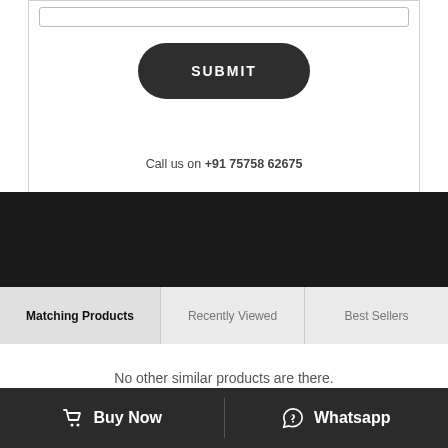[Figure (screenshot): Input field bar at the top of the white form section]
[Figure (screenshot): Dark rounded SUBMIT button]
Call us on +91 75758 62675
[Figure (screenshot): Dark background section separator]
Matching Products
Recently Viewed
Best Sellers
No other similar products are there.
Buy Now
Whatsapp